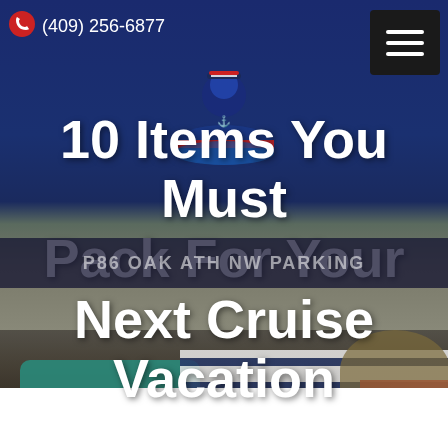[Figure (screenshot): Website header screenshot showing a cruise parking service page. Dark navy blue background with a hero image of an open suitcase packed with travel items including a teal rolled towel, striped clothing, and a wide-brimmed hat. A cruise ship logo is centered near the top.]
(409) 256-6877
10 Items You Must Pack For Your Next Cruise Vacation
P86 OAK ATH NW PARKING